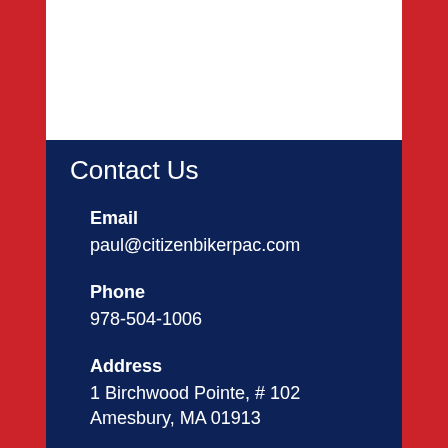Contact Us
Email
paul@citizenbikerpac.com
Phone
978-504-1006
Address
1 Birchwood Pointe, # 102
Amesbury, MA 01913